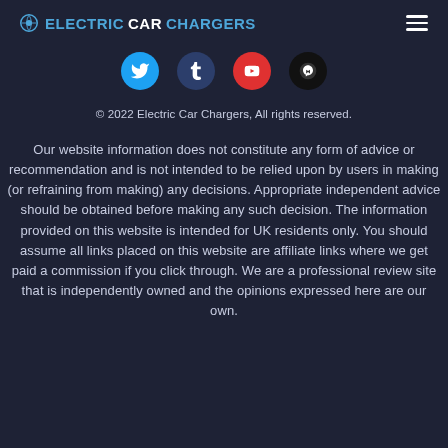ELECTRICCARCHARGERS
[Figure (illustration): Social media icons row: Twitter (cyan circle), Tumblr (dark blue circle), YouTube (red circle), Email/Quora (black circle)]
© 2022 Electric Car Chargers, All rights reserved.
Our website information does not constitute any form of advice or recommendation and is not intended to be relied upon by users in making (or refraining from making) any decisions. Appropriate independent advice should be obtained before making any such decision. The information provided on this website is intended for UK residents only. You should assume all links placed on this website are affiliate links where we get paid a commission if you click through. We are a professional review site that is independently owned and the opinions expressed here are our own.